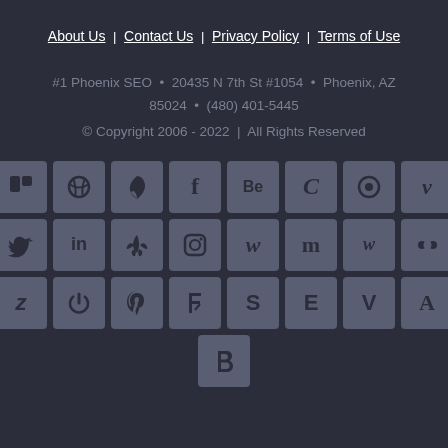About Us | Contact Us | Privacy Policy | Terms of Use
#1 Phoenix SEO • 20435 N 7th St #1054 • Phoenix, AZ 85024 • (480) 401-5445
© Copyright 2006 - 2022 | All Rights Reserved
[Figure (other): Grid of 25 social media icon buttons arranged in 4 rows of 8 and 1 final centered icon (Blogger). Icons include Trello, Dribbble, Ember/Fireside, Facebook, Behance, Coda, Pinterest/circle, Vimeo, Twitter, LinkedIn, Yelp, Instagram, Wattpad, Medium, Wix, Flickr, DeviantArt, power/reset, Pinterest, Foursquare, Squarespace, Ello, VSCO, About.me, and Blogger.]